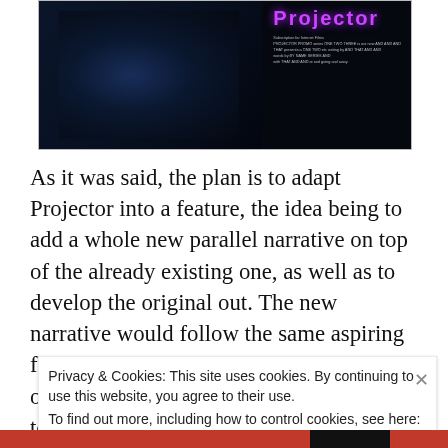[Figure (photo): Dark movie poster for 'Projector' with purple/pink stylized title text on right side and dark blue cinematic scene on left]
As it was said, the plan is to adapt Projector into a feature, the idea being to add a whole new parallel narrative on top of the already existing one, as well as to develop the original out. The new narrative would follow the same aspiring filmmakers Christopher and Phillip on an odyssey of a night out, going from parties to dives to who knows where. as Christopher talks
Privacy & Cookies: This site uses cookies. By continuing to use this website, you agree to their use.
To find out more, including how to control cookies, see here: Cookie Policy
Close and accept